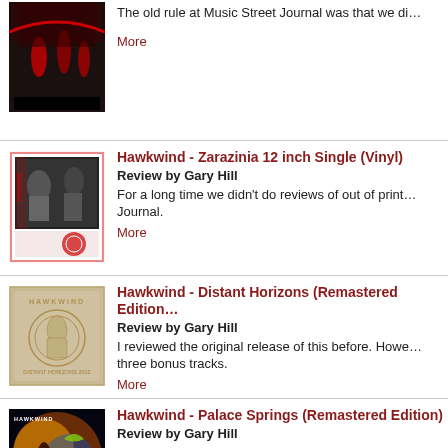[Figure (photo): Album cover image (red/dark performers on stage), partially visible at top]
The old rule at Music Street Journal was that we di…
More
[Figure (photo): Hawkwind Zarazinia 12 inch single vinyl cover - black and white photo with red border]
Hawkwind - Zarazinia 12 inch Single (Vinyl)
Review by Gary Hill
For a long time we didn't do reviews of out of print… Journal.
More
[Figure (photo): Hawkwind Distant Horizons album cover - embossed beige/cream design]
Hawkwind - Distant Horizons (Remastered Edition)
Review by Gary Hill
I reviewed the original release of this before. Howe… three bonus tracks.
More
[Figure (photo): Hawkwind Palace Springs remastered edition - colorful psychedelic cover]
Hawkwind - Palace Springs (Remastered Edition)
Review by Gary Hill
If you've never owned this live CD from Hawkwind (or even if y… This newly remastered edition sounds better than the original…
More
[Figure (photo): Hawkwind Record Store Day 2015 album - yellow/orange cover]
Hawkwind - Hawkwind (Record Store Day 2015 O…
Review by Gary Hill